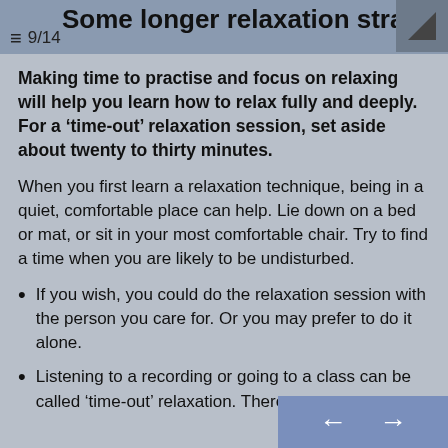Some longer relaxation strategies
9/14
Making time to practise and focus on relaxing will help you learn how to relax fully and deeply. For a ‘time-out’ relaxation session, set aside about twenty to thirty minutes.
When you first learn a relaxation technique, being in a quiet, comfortable place can help. Lie down on a bed or mat, or sit in your most comfortable chair. Try to find a time when you are likely to be undisturbed.
If you wish, you could do the relaxation session with the person you care for. Or you may prefer to do it alone.
Listening to a recording or going to a class can be called ‘time-out’ relaxation. There are